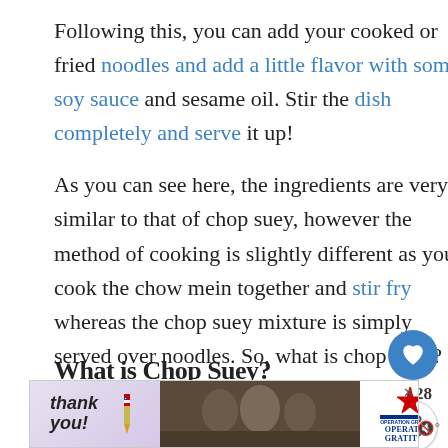Following this, you can add your cooked or fried noodles and add a little flavor with some soy sauce and sesame oil. Stir the dish completely and serve it up!
As you can see here, the ingredients are very similar to that of chop suey, however the method of cooking is slightly different as you cook the chow mein together and stir fry whereas the chop suey mixture is simply served over noodles. So, what is chop suey?
What is Chop Suey?
[Figure (screenshot): UI overlay elements: heart/like button (blue circle with heart icon), share count 28, share button, and a 'WHAT'S NEXT' card showing 'What Is The Difference...' with a thumbnail]
[Figure (screenshot): Advertisement banner: 'Thank you!' text with American flag pencil graphic, military photo, Operation Gratitude logo, and close button]